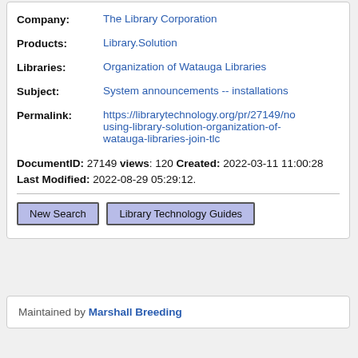Company: The Library Corporation
Products: Library.Solution
Libraries: Organization of Watauga Libraries
Subject: System announcements -- installations
Permalink: https://librarytechnology.org/pr/27149/nousing-library-solution-organization-of-watauga-libraries-join-tlc
DocumentID: 27149 views: 120 Created: 2022-03-11 11:00:28 Last Modified: 2022-08-29 05:29:12.
New Search   Library Technology Guides
Maintained by Marshall Breeding